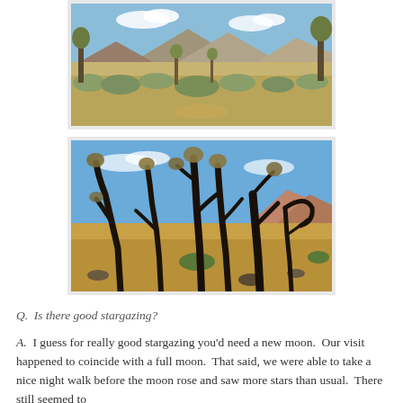[Figure (photo): Desert landscape with Joshua trees, scrubby brush, and hills in the background under a blue sky]
[Figure (photo): Burned or dead Joshua trees with blackened twisted trunks against a blue sky and arid hillside]
Q.  Is there good stargazing?
A.  I guess for really good stargazing you'd need a new moon.  Our visit happened to coincide with a full moon.  That said, we were able to take a nice night walk before the moon rose and saw more stars than usual.  There still seemed to